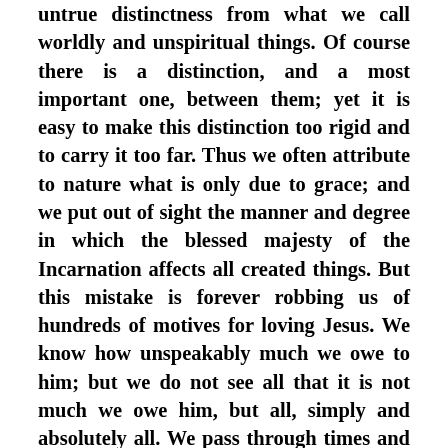untrue distinctness from what we call worldly and unspiritual things. Of course there is a distinction, and a most important one, between them; yet it is easy to make this distinction too rigid and to carry it too far. Thus we often attribute to nature what is only due to grace; and we put out of sight the manner and degree in which the blessed majesty of the Incarnation affects all created things. But this mistake is forever robbing us of hundreds of motives for loving Jesus. We know how unspeakably much we owe to him; but we do not see all that it is not much we owe him, but all, simply and absolutely all. We pass through times and places in life, hardly recognizing how the sweetness